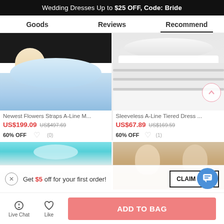Wedding Dresses Up to $25 OFF, Code: Bride
Goods	Reviews	Recommend
[Figure (photo): Blue flower girl dress on a child, Newest Flowers Straps A-Line M...]
[Figure (photo): White sleeveless A-Line tiered dress, Sleeveless A-Line Tiered Dress ...]
Newest Flowers Straps A-Line M...
US$199.09  US$497.69  60% OFF
Sleeveless A-Line Tiered Dress ...
US$67.89  US$169.59  60% OFF
[Figure (photo): Blue sequin dress (partial)]
[Figure (photo): Children at a wedding (partial)]
Get $5 off for your first order!
CLAIM NOW
Live Chat
Like
ADD TO BAG